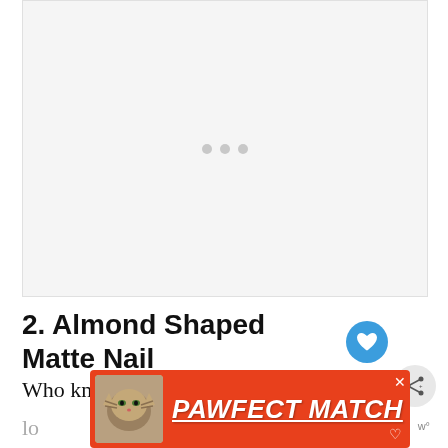[Figure (other): Loading placeholder image area with three grey dots indicating content loading]
2. Almond Shaped Matte Nails
Who know that cow print could lo...
[Figure (other): Advertisement banner with orange/red background showing a cat image and text PAWFECT MATCH]